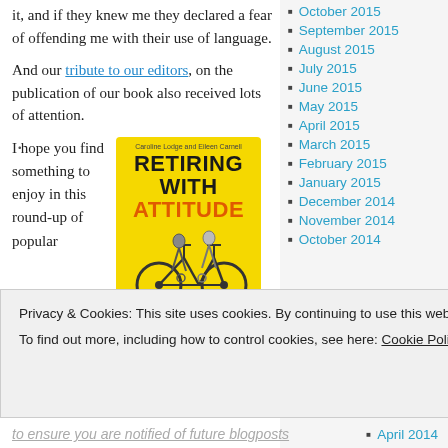it, and if they knew me they declared a fear of offending me with their use of language.
And our tribute to our editors, on the publication of our book also received lots of attention.
I hope you find something to enjoy in this round-up of popular
[Figure (illustration): Book cover of 'Retiring with Attitude' by Caroline Lodge and Eileen Carnell, showing two people riding a tandem bicycle, on a yellow background with subtitle 'Approaching and Relishing your Retirement']
October 2015
September 2015
August 2015
July 2015
June 2015
May 2015
April 2015
March 2015
February 2015
January 2015
December 2014
November 2014
October 2014
Privacy & Cookies: This site uses cookies. By continuing to use this website, you agree to their use.
To find out more, including how to control cookies, see here: Cookie Policy
Close and accept
to ensure you are notified of future blogposts
April 2014